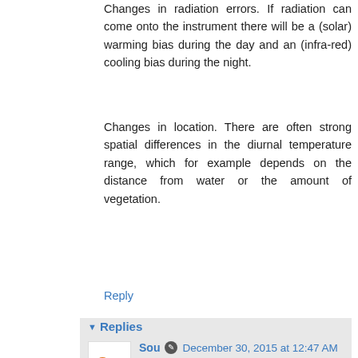Changes in radiation errors. If radiation can come onto the instrument there will be a (solar) warming bias during the day and an (infra-red) cooling bias during the night.
Changes in location. There are often strong spatial differences in the diurnal temperature range, which for example depends on the distance from water or the amount of vegetation.
Reply
▼ Replies
Sou  December 30, 2015 at 12:47 AM
Thanks, Victor. Another new thing I've learnt today.
Reply
Victor Venema  December 30, 2015 at 12:46 AM
Linking to that one picture was clearly deceptive of Andy